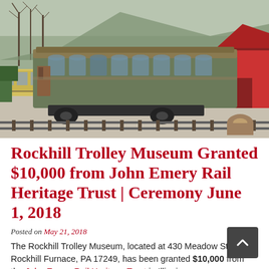[Figure (photo): Photograph of a vintage green/olive trolley car on railroad tracks at the Rockhill Trolley Museum. A red barn structure is visible on the right, another yellow railcar on the left, and bare winter trees in the background.]
Rockhill Trolley Museum Granted $10,000 from John Emery Rail Heritage Trust | Ceremony June 1, 2018
Posted on May 21, 2018
The Rockhill Trolley Museum, located at 430 Meadow St., Rockhill Furnace, PA 17249, has been granted $10,000 from the John Emery Rail Heritage Trust in Illinois